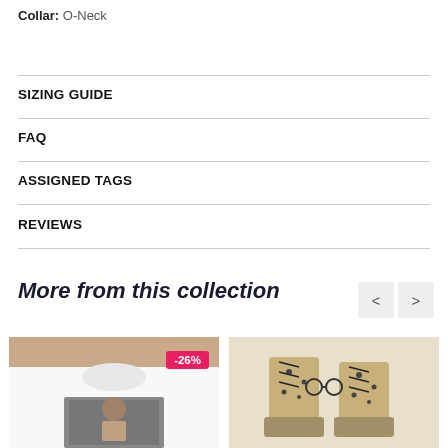Collar: O-Neck
SIZING GUIDE
FAQ
ASSIGNED TAGS
REVIEWS
More from this collection
[Figure (photo): White t-shirt with graphic print, -26% discount badge]
[Figure (photo): Patterned boots/shoes product]